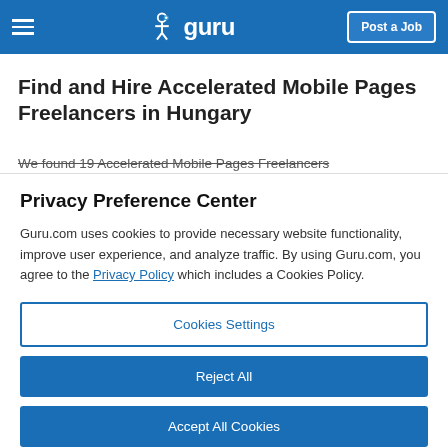guru — Post a Job
Find and Hire Accelerated Mobile Pages Freelancers in Hungary
We found 19 Accelerated Mobile Pages Freelancers
Privacy Preference Center
Guru.com uses cookies to provide necessary website functionality, improve user experience, and analyze traffic. By using Guru.com, you agree to the Privacy Policy which includes a Cookies Policy.
Cookies Settings
Reject All
Accept All Cookies